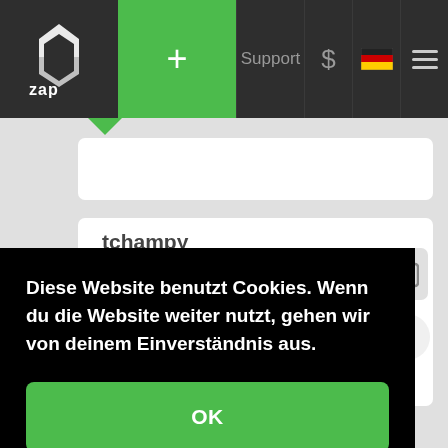ZAP Hosting navigation bar with logo, +, Support, $, German flag, menu
tchampy
Streamer (Alt-V)
Diese Website benutzt Cookies. Wenn du die Website weiter nutzt, gehen wir von deinem Einverständnis aus.
OK